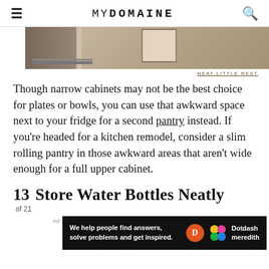MYDOMAINE
[Figure (photo): Partial view of a narrow kitchen cabinet or pantry interior with shelving, cropped at top]
NEAT LITTLE NEST
Though narrow cabinets may not be the best choice for plates or bowls, you can use that awkward space next to your fridge for a second pantry instead. If you're headed for a kitchen remodel, consider a slim rolling pantry in those awkward areas that aren't wide enough for a full upper cabinet.
13 Store Water Bottles Neatly
of 21
[Figure (screenshot): Advertisement banner: We help people find answers, solve problems and get inspired. Dotdash Meredith logo]